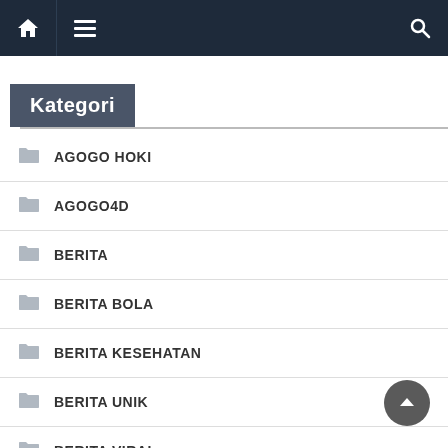Navigation bar with home, menu, and search icons
Kategori
AGOGO HOKI
AGOGO4D
BERITA
BERITA BOLA
BERITA KESEHATAN
BERITA UNIK
BERITA VIRAL